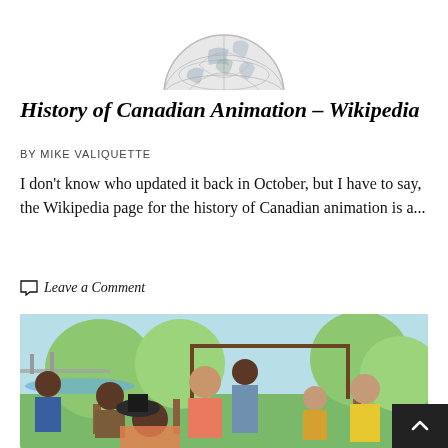[Figure (logo): Wikipedia globe logo, partially cropped at top]
History of Canadian Animation – Wikipedia
BY MIKE VALIQUETTE
I don't know who updated it back in October, but I have to say, the Wikipedia page for the history of Canadian animation is a...
Leave a Comment
[Figure (illustration): Cartoon illustration showing a group of diverse animated characters having a picnic or gathering outdoors in a park setting with trees and a bridge in the background]